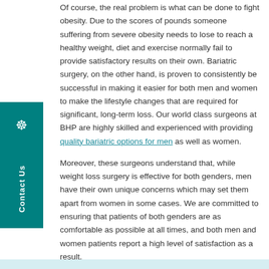Of course, the real problem is what can be done to fight obesity. Due to the scores of pounds someone suffering from severe obesity needs to lose to reach a healthy weight, diet and exercise normally fail to provide satisfactory results on their own. Bariatric surgery, on the other hand, is proven to consistently be successful in making it easier for both men and women to make the lifestyle changes that are required for significant, long-term loss. Our world class surgeons at BHP are highly skilled and experienced with providing quality bariatric options for men as well as women.
Moreover, these surgeons understand that, while weight loss surgery is effective for both genders, men have their own unique concerns which may set them apart from women in some cases. We are committed to ensuring that patients of both genders are as comfortable as possible at all times, and both men and women patients report a high level of satisfaction as a result.